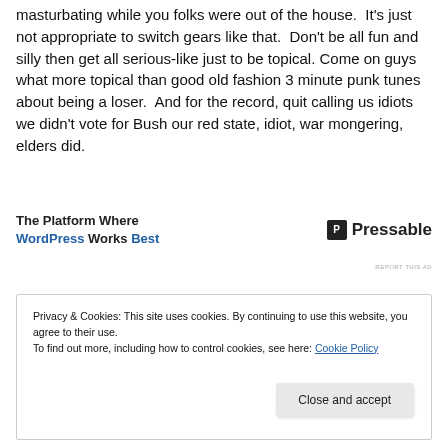masturbating while you folks were out of the house.  It's just not appropriate to switch gears like that.  Don't be all fun and silly then get all serious-like just to be topical.  Come on guys what more topical than good old fashion 3 minute punk tunes about being a loser.  And for the record, quit calling us idiots we didn't vote for Bush our red state, idiot, war mongering, elders did.
[Figure (other): Advertisement banner: 'The Platform Where WordPress Works Best' with Pressable logo on right]
REPORT THIS AD
Privacy & Cookies: This site uses cookies. By continuing to use this website, you agree to their use.
To find out more, including how to control cookies, see here: Cookie Policy
Close and accept